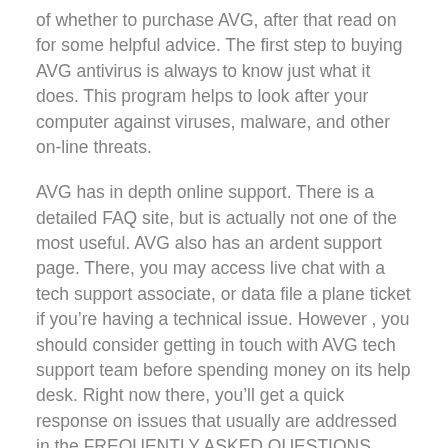of whether to purchase AVG, after that read on for some helpful advice. The first step to buying AVG antivirus is always to know just what it does. This program helps to look after your computer against viruses, malware, and other on-line threats.
AVG has in depth online support. There is a detailed FAQ site, but is actually not one of the most useful. AVG also has an ardent support page. There, you may access live chat with a tech support associate, or data file a plane ticket if you're having a technical issue. However , you should consider getting in touch with AVG tech support team before spending money on its help desk. Right now there, you'll get a quick response on issues that usually are addressed in the FREQUENTLY ASKED QUESTIONS.